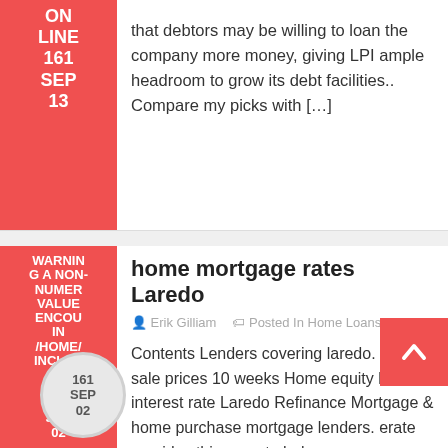that debtors may be willing to loan the company more money, giving LPI ample headroom to grow its debt facilities.. Compare my picks with [...]
home mortgage rates Laredo
Erik Gilliam   Posted In Home Loans Laredo
Contents Lenders covering laredo. Home sale prices 10 weeks Home equity loan interest rate Laredo Refinance Mortgage & home purchase mortgage lenders. erate provides this page to help consumers locate mortgage lenders covering laredo. While our goal is to provi extensive network of lenders and brokers throughout Laredo to make your life easier and [...]